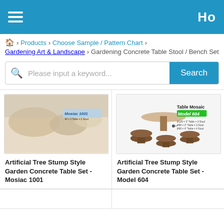Ho
🏠 > Products > Choose Sample / Pattern Chart > Gardening Art & Landscape > Gardening Concrete Table Stool / Bench Set
Please input a keyword... Search
[Figure (photo): Artificial Tree Stump Style Garden Concrete Table Set Mosiac 1001 product image]
Artificial Tree Stump Style Garden Concrete Table Set - Mosiac 1001
[Figure (photo): Artificial Tree Stump Style Garden Concrete Table Set Model 604 product image with Table Mosaic label and green Model 604 badge]
Artificial Tree Stump Style Garden Concrete Table Set - Model 604